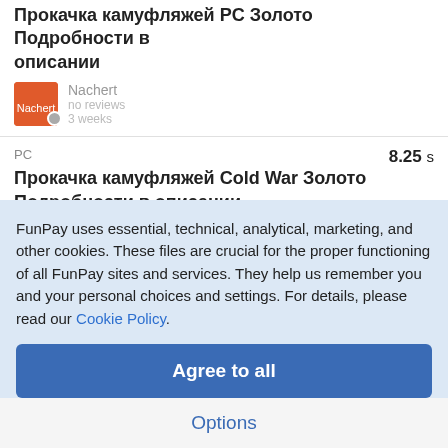Прокачка камуфляжей PC Золото Подробности в описании
Nachert
no reviews
3 weeks
PC
8.25 s
Прокачка камуфляжей Cold War Золото Подробности в описании
Nachert
no reviews
3 weeks
PC
8.25 s
FunPay uses essential, technical, analytical, marketing, and other cookies. These files are crucial for the proper functioning of all FunPay sites and services. They help us remember you and your personal choices and settings. For details, please read our Cookie Policy.
Agree to all
Options